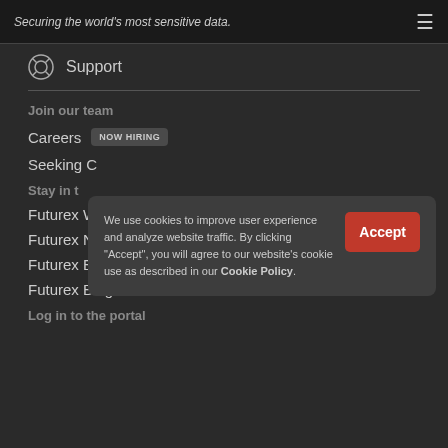Securing the world's most sensitive data.
Support
Join our team
Careers  NOW HIRING
Seeking C...
Stay in t...
Futurex W...
Futurex News
Futurex Events
Futurex Blog
Log in to the portal
We use cookies to improve user experience and analyze website traffic. By clicking "Accept", you will agree to our website's cookie use as described in our Cookie Policy.